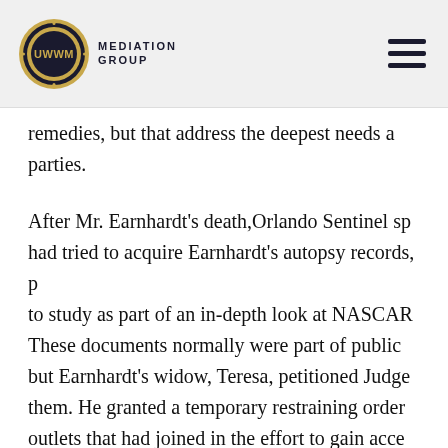UWWM Mediation Group
remedies, but that address the deepest needs a parties.
After Mr. Earnhardt's death, Orlando Sentinel sp had tried to acquire Earnhardt's autopsy records, p to study as part of an in-depth look at NASCAR. These documents normally were part of public but Earnhardt's widow, Teresa, petitioned Judge them. He granted a temporary restraining order outlets that had joined in the effort to gain acce
Seeing his courtroom bristling with sportscaste